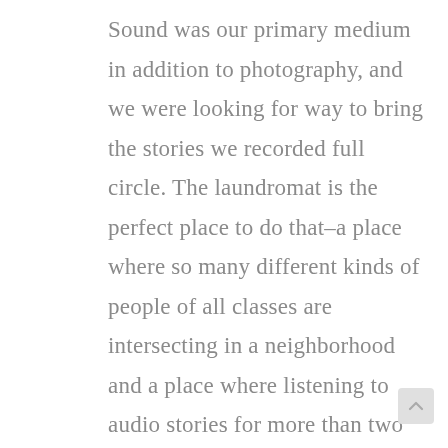Sound was our primary medium in addition to photography, and we were looking for way to bring the stories we recorded full circle. The laundromat is the perfect place to do that–a place where so many different kinds of people of all classes are intersecting in a neighborhood and a place where listening to audio stories for more than two minutes makes sense. The LP supported our first installation at Wash and Play Lotto Laundromat in Fort Greene We had photo portraits hanging above the